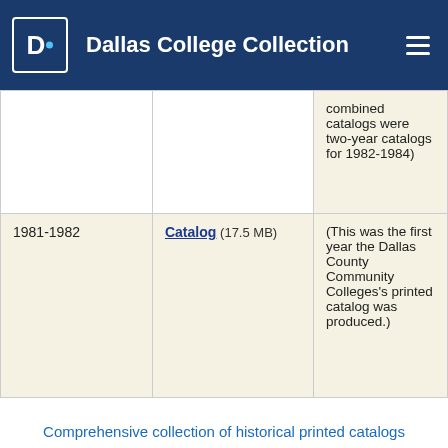Dallas College Collection
| Year | Files | Notes |
| --- | --- | --- |
|  |  | combined catalogs were two-year catalogs for 1982-1984) |
| 1981-1982 | Catalog (17.5 MB) | (This was the first year the Dallas County Community Colleges's printed catalog was produced.) |
Comprehensive collection of historical printed catalogs